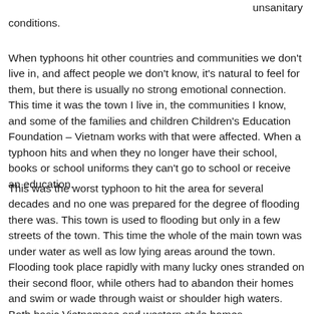unsanitary conditions.
When typhoons hit other countries and communities we don't live in, and affect people we don't know, it's natural to feel for them, but there is usually no strong emotional connection. This time it was the town I live in, the communities I know, and some of the families and children Children's Education Foundation – Vietnam works with that were affected. When a typhoon hits and when they no longer have their school, books or school uniforms they can't go to school or receive an education.
This was the worst typhoon to hit the area for several decades and no one was prepared for the degree of flooding there was. This town is used to flooding but only in a few streets of the town. This time the whole of the main town was under water as well as low lying areas around the town. Flooding took place rapidly with many lucky ones stranded on their second floor, while others had to abandon their homes and swim or wade through waist or shoulder high waters. Both basic Vietnamese and western style homes